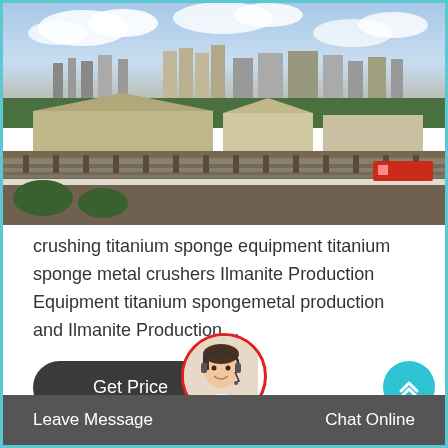[Figure (photo): Aerial/elevated view of an industrial facility with factory buildings, silos, railway tracks, and trees under a partly cloudy sky.]
crushing titanium sponge equipment titanium sponge metal crushers Ilmanite Production Equipment titanium spongemetal production and Ilmanite Production…
[Figure (other): Dark rounded rectangle button labeled 'Get Price']
[Figure (photo): Customer service representative avatar with headset, circular photo with red border]
[Figure (other): Cyan/teal circular scroll-to-top button with upward chevron arrow]
Leave Message    Chat Online